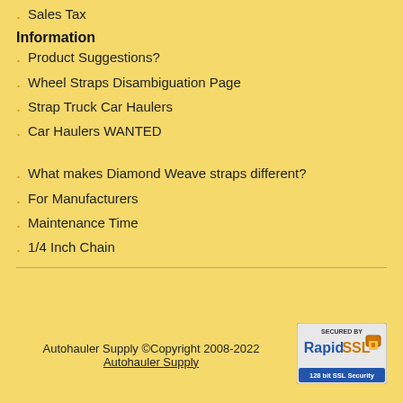Sales Tax
Information
Product Suggestions?
Wheel Straps Disambiguation Page
Strap Truck Car Haulers
Car Haulers WANTED
What makes Diamond Weave straps different?
For Manufacturers
Maintenance Time
1/4 Inch Chain
Autohauler Supply ©Copyright 2008-2022 Autohauler Supply